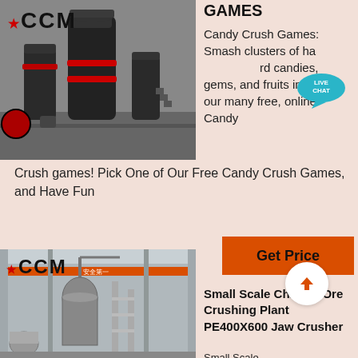[Figure (photo): Industrial grinding/milling machines in a factory, large black equipment, with CCM star logo overlay]
GAMES
Candy Crush Games: Smash clusters of hard candies, gems, and fruits in one of our many free, online Candy Crush games! Pick One of Our Free Candy Crush Games, and Have Fun
[Figure (other): Live Chat speech bubble icon in teal]
[Figure (other): Get Price orange button with up-arrow circle]
[Figure (photo): Industrial chrome ore crushing plant interior with overhead crane and CCM star logo overlay]
Small Scale Chrome Ore Crushing Plant PE400X600 Jaw Crusher
Small Scale